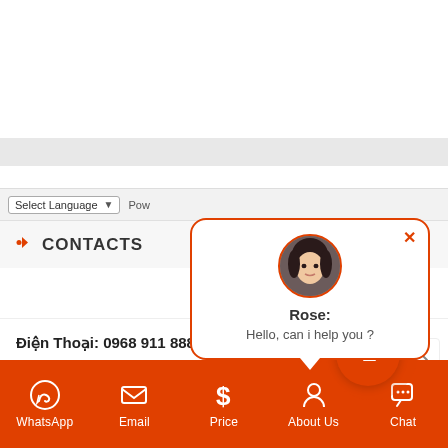[Figure (screenshot): Mobile website screenshot showing a language selector dropdown with 'Select Language' and a partial 'Pow' text, a CONTACTS section with arrow icon, phone number 'Điện Thoại: 0968 911 888', a chat popup with avatar of Rose saying 'Hello, can i help you ?', an orange chat button with ripple, and a bottom navigation bar with WhatsApp, Email, Price, About Us, Chat icons in orange.]
Select Language
CONTACTS
Rose:
Hello, can i help you ?
Điện Thoại: 0968 911 888
WhatsApp  Email  Price  About Us  Chat